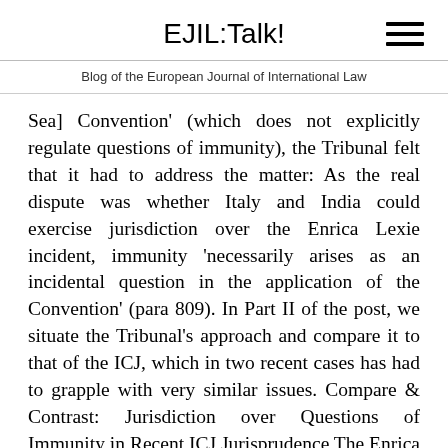EJIL:Talk!
Blog of the European Journal of International Law
Sea] Convention' (which does not explicitly regulate questions of immunity), the Tribunal felt that it had to address the matter: As the real dispute was whether Italy and India could exercise jurisdiction over the Enrica Lexie incident, immunity 'necessarily arises as an incidental question in the application of the Convention' (para 809). In Part II of the post, we situate the Tribunal's approach and compare it to that of the ICJ, which in two recent cases has had to grapple with very similar issues. Compare & Contrast: Jurisdiction over Questions of Immunity in Recent ICJ Jurisprudence The Enrica Lexie